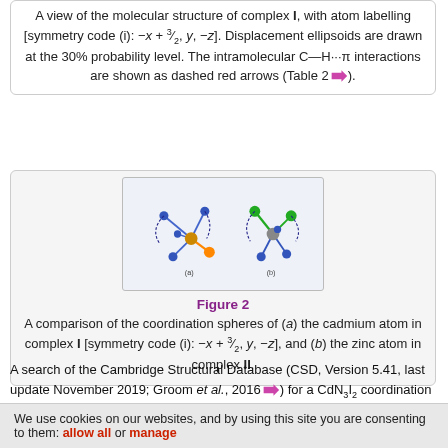A view of the molecular structure of complex I, with atom labelling [symmetry code (i): −x + 3/2, y, −z]. Displacement ellipsoids are drawn at the 30% probability level. The intramolecular C—H···π interactions are shown as dashed red arrows (Table 2).
[Figure (illustration): Molecular structure diagram showing coordination spheres of (a) cadmium atom in complex I and (b) zinc atom in complex II, with colored ball-and-stick models.]
Figure 2
A comparison of the coordination spheres of (a) the cadmium atom in complex I [symmetry code (i): −x + 3/2, y, −z], and (b) the zinc atom in complex II.
A search of the Cambridge Structural Database (CSD, Version 5.41, last update November 2019; Groom et al., 2016) for a CdN3I2 coordination environment involving a pyrazine N atom yielded only one relevant structure, the CdI2 mononuclear complex of the ligand 2,3,5,6-tetrakis-(pyridin-2-yl)pyrazine (TPPZ), viz. complex (2,3,5,6-tetrakis(pyridin-2-yl)pyrazine)bis(iodo)cadmium(II) (GAHRIT; Saghatforoush, 2015). Here the τ5 parameter for the cadmium atom is 0.04. The Cd—Npz bond length is ca 2.388 Å compared to 2.295 (3) Å in I, while the Cd—I bond lengths are ca 2.741 and 2.727 Å compared to 2.7038 (3) Å in I. The N-methyl-
We use cookies on our websites, and by using this site you are consenting to them: allow all or manage